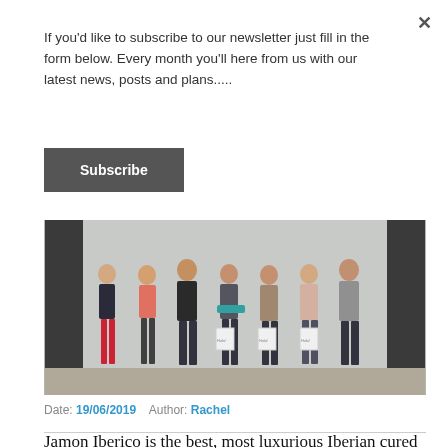If you'd like to subscribe to our newsletter just fill in the form below. Every month you'll here from us with our latest news, posts and plans.....
Subscribe
[Figure (photo): Group photo of seven people standing against a white wall outdoors. Some are holding white shopping bags. Clothing varies from casual to smart casual.]
Date: 19/06/2019   Author: Rachel
Jamon Iberico is the best, most luxurious Iberian cured